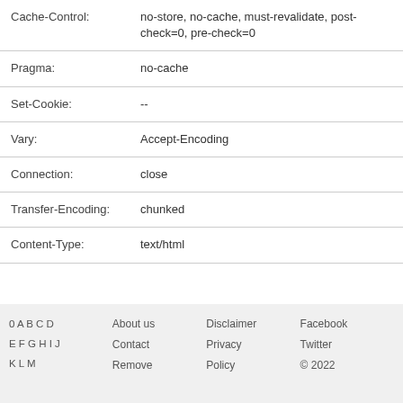| Header | Value |
| --- | --- |
| Cache-Control: | no-store, no-cache, must-revalidate, post-check=0, pre-check=0 |
| Pragma: | no-cache |
| Set-Cookie: | -- |
| Vary: | Accept-Encoding |
| Connection: | close |
| Transfer-Encoding: | chunked |
| Content-Type: | text/html |
0 A B C D E F G H I J K L M   About us   Contact   Remove   Disclaimer   Privacy   Policy   Facebook   Twitter   © 2022